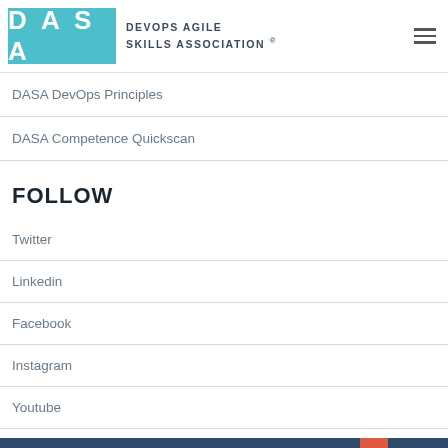[Figure (logo): DASA (DevOps Agile Skills Association) logo with teal background and hamburger menu icon]
DASA DevOps Principles
DASA Competence Quickscan
FOLLOW
Twitter
Linkedin
Facebook
Instagram
Youtube